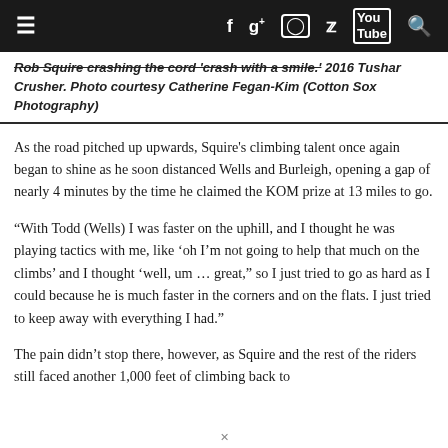Navigation bar with menu, Facebook, Google+, Instagram, Twitter, YouTube, Search icons
Rob Squire crashing the cord 'crash with a smile.' 2016 Tushar Crusher. Photo courtesy Catherine Fegan-Kim (Cotton Sox Photography)
As the road pitched up upwards, Squire’s climbing talent once again began to shine as he soon distanced Wells and Burleigh, opening a gap of nearly 4 minutes by the time he claimed the KOM prize at 13 miles to go.
“With Todd (Wells) I was faster on the uphill, and I thought he was playing tactics with me, like ‘oh I’m not going to help that much on the climbs’ and I thought ‘well, um … great,” so I just tried to go as hard as I could because he is much faster in the corners and on the flats. I just tried to keep away with everything I had.”
The pain didn’t stop there, however, as Squire and the rest of the riders still faced another 1,000 feet of climbing back to